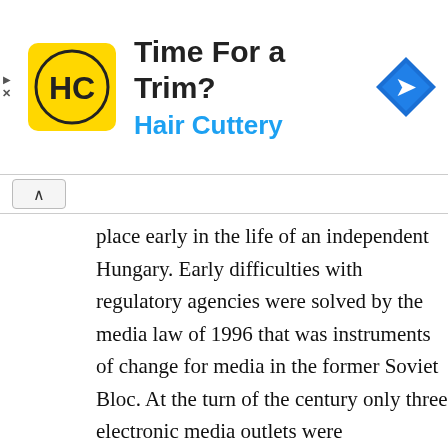[Figure (infographic): Advertisement banner for Hair Cuttery with logo, headline 'Time For a Trim?', subtext 'Hair Cuttery', and a blue navigation diamond icon on the right. Left side has play and close/X icons.]
place early in the life of an independent Hungary. Early difficulties with regulatory agencies were solved by the media law of 1996 that was instruments of change for media in the former Soviet Bloc. At the turn of the century only three electronic media outlets were government owned: MTV, Television and Duna TV. Moreover, it was estimated that state television held less than 10 percent of the viewing audience in the year 2000.
Notwithstanding this low market share, Hungarian television has become discussion over the provision of a free press and the removal of influence. Specifically, the state broadcast media have laid off a administrative personnel, citing massive financial losses. This is government has been accused of selective layoffs, in particular to the government. Moreover the Board of Trustees that governs ultimately programming, was weighted towards persons favoring